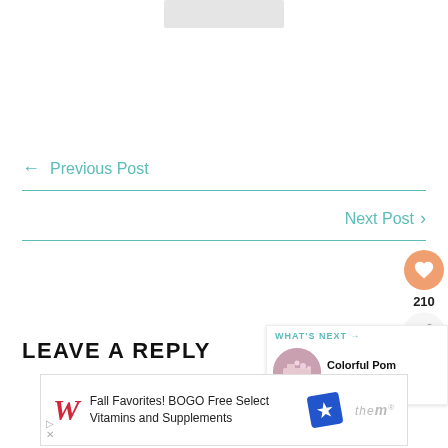[Figure (photo): Blurred/cropped image at top of page]
← Previous Post
Next Post →
[Figure (infographic): Floating like button with heart icon showing 210 likes, and share button below]
LEAVE A REPLY
[Figure (infographic): What's Next panel with thumbnail and text: Colorful Pom Pom Birthda...]
[Figure (infographic): Advertisement banner: Fall Favorites! BOGO Free Select Vitamins and Supplements - Walgreens ad]